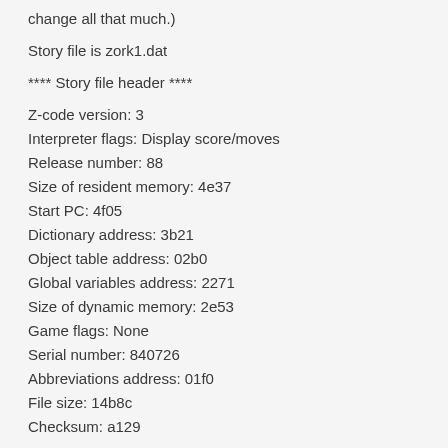change all that much.)
Story file is zork1.dat
**** Story file header ****
Z-code version: 3
Interpreter flags: Display score/moves
Release number: 88
Size of resident memory: 4e37
Start PC: 4f05
Dictionary address: 3b21
Object table address: 02b0
Global variables address: 2271
Size of dynamic memory: 2e53
Game flags: None
Serial number: 840726
Abbreviations address: 01f0
File size: 14b8c
Checksum: a129
This tells us that the total size of the story file is about 84 K (1db8c in hex) and the size of the resident memory — i.e., dynamic memory, or things that can change during play, and thus have always to be present in the computer's RAM — is about 20 K (4e37 in hex).